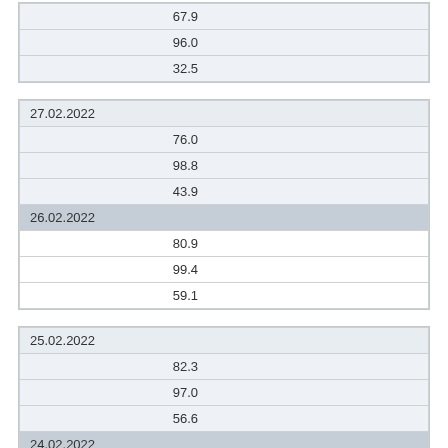| 67.9 |
| 96.0 |
| 32.5 |
| 27.02.2022 |
| 76.0 |
| 98.8 |
| 43.9 |
| 26.02.2022 |
| 80.9 |
| 99.4 |
| 59.1 |
| 25.02.2022 |
| 82.3 |
| 97.0 |
| 56.6 |
| 24.02.2022 |
| 79.5 |
| 99.9 |
| 51.0 |